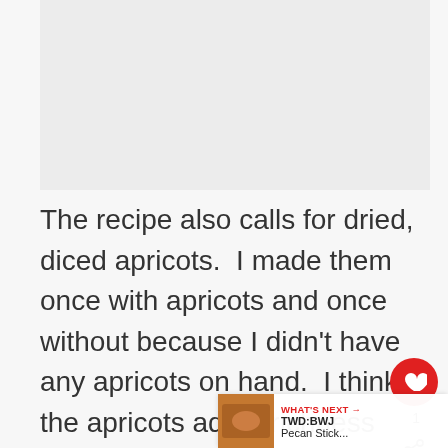[Figure (photo): Food or recipe-related image, light gray placeholder area at top of page]
The recipe also calls for dried, diced apricots.  I made them once with apricots and once without because I didn't have any apricots on hand.  I think the apricots add a richness and a bit of color and are worth using.